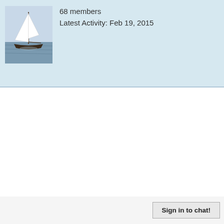[Figure (photo): Sailboat sailing on water with white sails]
68 members
Latest Activity: Feb 19, 2015
Sign in to chat!